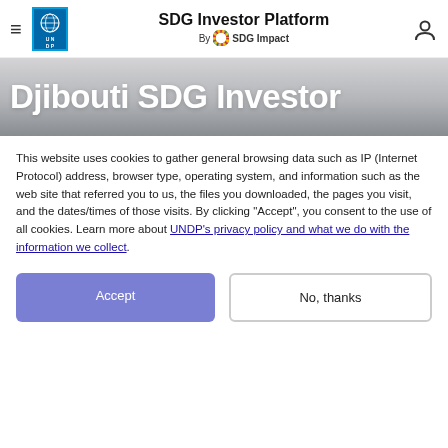SDG Investor Platform — By SDG Impact
Djibouti SDG Investor
This website uses cookies to gather general browsing data such as IP (Internet Protocol) address, browser type, operating system, and information such as the web site that referred you to us, the files you downloaded, the pages you visit, and the dates/times of those visits. By clicking "Accept", you consent to the use of all cookies. Learn more about UNDP's privacy policy and what we do with the information we collect.
Accept
No, thanks